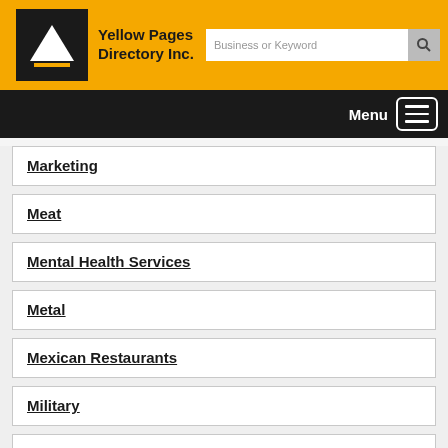[Figure (logo): Yellow Pages Directory Inc. logo with black background and white upward arrow/triangle icon, yellow bar header with search input]
Yellow Pages Directory Inc.
Marketing
Meat
Mental Health Services
Metal
Mexican Restaurants
Military
Modeling Agencies
Mortgage Brokers & Correspondents